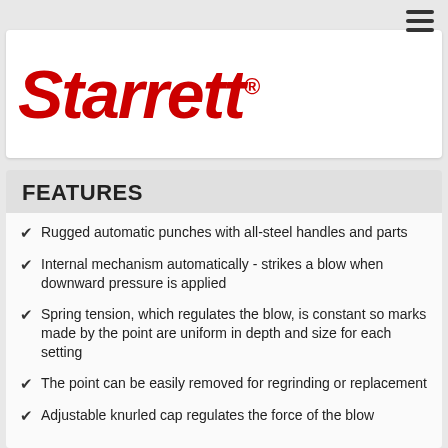[Figure (logo): Starrett brand logo in large red italic serif/display font with registered trademark symbol]
FEATURES
Rugged automatic punches with all-steel handles and parts
Internal mechanism automatically - strikes a blow when downward pressure is applied
Spring tension, which regulates the blow, is constant so marks made by the point are uniform in depth and size for each setting
The point can be easily removed for regrinding or replacement
Adjustable knurled cap regulates the force of the blow